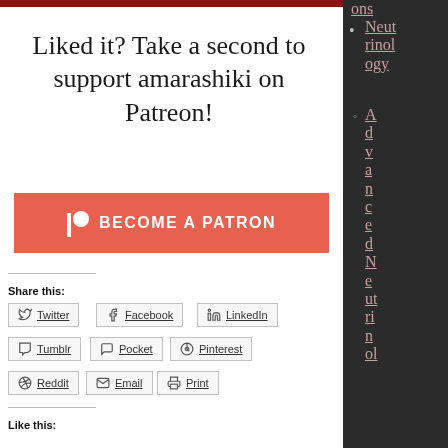Liked it? Take a second to support amarashiki on Patreon!
[Figure (other): Become a Patron button - red/salmon colored button with Patreon icon and text BECOME A PATRON]
Share this:
Twitter
Facebook
LinkedIn
Tumblr
Pocket
Pinterest
Reddit
Email
Print
Like this:
Neutrinology
Advanced Neutrinology